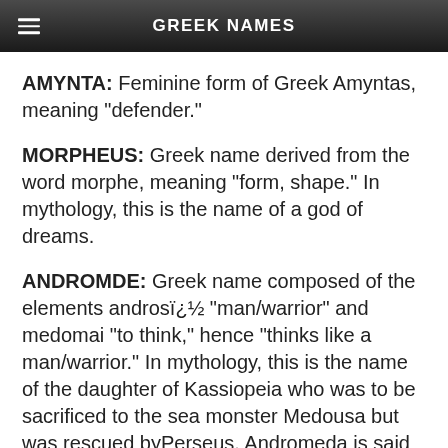GREEK NAMES
AMYNTA:  Feminine form of Greek Amyntas, meaning "defender."
MORPHEUS:  Greek name derived from the word morphe, meaning "form, shape." In mythology, this is the name of a god of dreams.
ANDROMDE:  Greek name composed of the elements androsï¿½ "man/warrior" and medomai "to think," hence "thinks like a man/warrior." In mythology, this is the name of the daughter of Kassiopeia who was to be sacrificed to the sea monster Medousa but was rescued byPerseus. Andromeda is said to have been an Ethiopian princess and